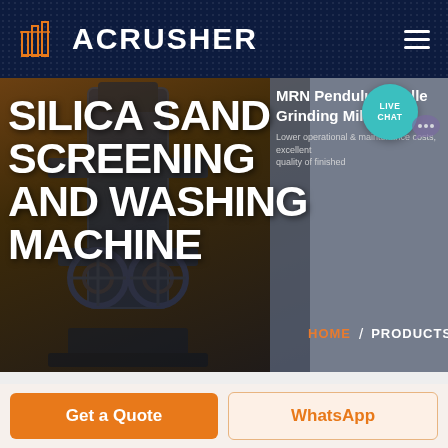ACRUSHER
SILICA SAND SCREENING AND WASHING MACHINE
MRN Pendulum Roller Grinding Mill
Lower operational & maintenance costs, excellent quality of finished product
HOME / PRODUCTS
[Figure (screenshot): Website screenshot of Acrusher product page showing industrial machine silhouette]
LIVE CHAT
Get a Quote
WhatsApp